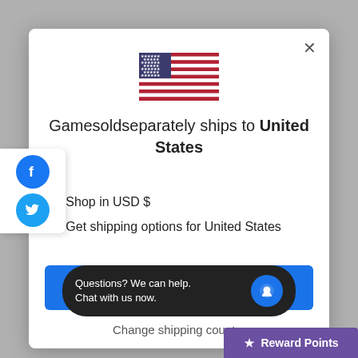[Figure (illustration): Modal dialog box with US flag, shipping information, and Shop now button]
Gamesoldseparately ships to United States
Shop in USD $
Get shipping options for United States
Shop now
Change shipping country
Questions? We can help. Chat with us now.
Reward Points